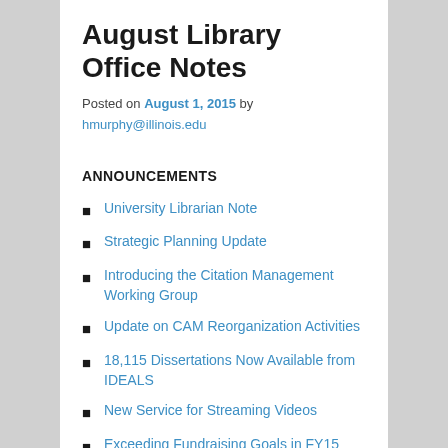August Library Office Notes
Posted on August 1, 2015 by hmurphy@illinois.edu
ANNOUNCEMENTS
University Librarian Note
Strategic Planning Update
Introducing the Citation Management Working Group
Update on CAM Reorganization Activities
18,115 Dissertations Now Available from IDEALS
New Service for Streaming Videos
Exceeding Fundraising Goals in FY15 and Preparing for the Next Campaign
HR NEWS